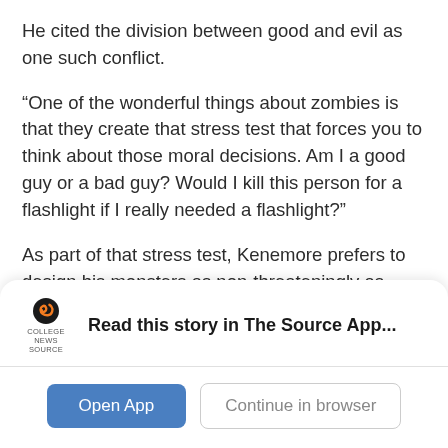He cited the division between good and evil as one such conflict.
“One of the wonderful things about zombies is that they create that stress test that forces you to think about those moral decisions. Am I a good guy or a bad guy? Would I kill this person for a flashlight if I really needed a flashlight?”
As part of that stress test, Kenemore prefers to design his monsters as non-threateningly as possible to emphasize the role of human, rather than zombie, fault and misjudgments on the destructive extent of an
[Figure (logo): College News Source logo with stylized S icon in orange/black and text 'COLLEGE NEWS SOURCE' below]
Read this story in The Source App...
Open App
Continue in browser